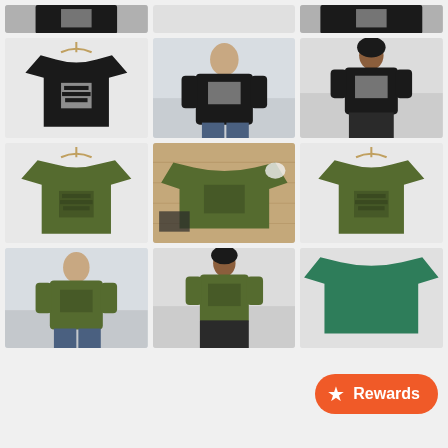[Figure (screenshot): E-commerce product page showing a grid of t-shirt product mockup images. Row 1 (partial, cropped): two product images partially visible at top. Row 2: three black t-shirts with graphic design - flat lay on hanger, male model wearing it, female model wearing it. Row 3: three olive/army green t-shirts - flat lay on hanger, lifestyle flatlay on floor, flat lay on hanger. Row 4 (partial): three images - male model wearing olive shirt, female model wearing olive shirt, partial image of teal/green shirt. An orange 'Rewards' button with star icon overlays the bottom right.]